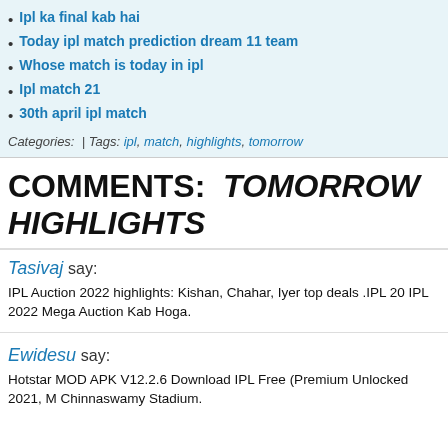Ipl ka final kab hai
Today ipl match prediction dream 11 team
Whose match is today in ipl
Ipl match 21
30th april ipl match
Categories:  | Tags: ipl, match, highlights, tomorrow
COMMENTS:  TOMORROW HIGHLIGHTS
Tasivaj say:
IPL Auction 2022 highlights: Kishan, Chahar, Iyer top deals .IPL 20 IPL 2022 Mega Auction Kab Hoga.
Ewidesu say:
Hotstar MOD APK V12.2.6 Download IPL Free (Premium Unlocked 2021, M Chinnaswamy Stadium.